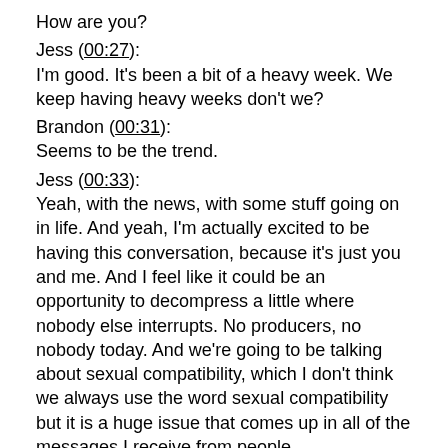How are you?
Jess (00:27):
I'm good. It's been a bit of a heavy week. We keep having heavy weeks don't we?
Brandon (00:31):
Seems to be the trend.
Jess (00:33):
Yeah, with the news, with some stuff going on in life. And yeah, I'm actually excited to be having this conversation, because it's just you and me. And I feel like it could be an opportunity to decompress a little where nobody else interrupts. No producers, no nobody today. And we're going to be talking about sexual compatibility, which I don't think we always use the word sexual compatibility but it is a huge issue that comes up in all of the messages I receive from people.
Brandon (00:59):
Don't you think the people often reach out to you with sex problems and is it always a sex problem or is it a compatibility